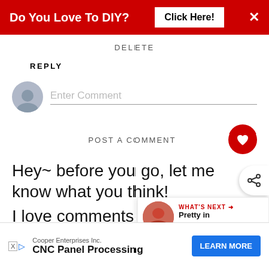[Figure (screenshot): Red banner advertisement: 'Do You Love To DIY?' with 'Click Here!' button and X close button]
DELETE
REPLY
[Figure (screenshot): Comment input area with avatar icon and 'Enter Comment' placeholder text with underline]
POST A COMMENT
Hey~ before you go, let me know what you think!
I love comments and respond to them all.
[Figure (screenshot): WHAT'S NEXT card showing thumbnail image and text 'Pretty in Purple ~ Tee...']
[Figure (screenshot): Advertisement banner: Cooper Enterprises Inc. CNC Panel Processing with LEARN MORE button]